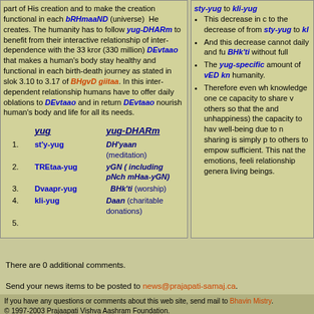part of His creation and to make the creation functional in each bRHmaaND (universe) He creates. The humanity has to follow yug-DHARm to benefit from their interactive relationship of inter-dependence with the 33 kror (330 million) DEvtaao that makes a human's body stay healthy and functional in each birth-death journey as stated in slok 3.10 to 3.17 of BHgvD giitaa. In this inter-dependent relationship humans have to offer daily oblations to DEvtaao and in return DEvtaao nourish human's body and life for all its needs.
| yug | yug-DHARm |
| --- | --- |
| 1. st'y-yug | DH'yaan (meditation) |
| 2. TREtaa-yug | yGN ( including pNch mHaa-yGN) |
| 3. Dvaapr-yug | BHk'ti (worship) |
| 4. kli-yug | Daan (charitable donations) |
| 5. |  |
sty-yug to kli-yug This decrease in c to the decrease of from sty-yug to kl And this decrease cannot daily and fu BHk'ti without full The yug-specific amount of vED kn humanity. Therefore even wh knowledge one ce capacity to share v others so that the and unhappiness) the capacity to hav well-being due to n sharing is simply p to others to empow sufficient. This nat the emotions, feeli relationship genera living beings.
There are 0 additional comments.
Send your news items to be posted to news@prajapati-samaj.ca.
If you have any questions or comments about this web site, send mail to Bhavin Mistry. © 1997-2003 Prajaapati Vishva Aashram Foundation. Site Design by Helios Logistics Inc.